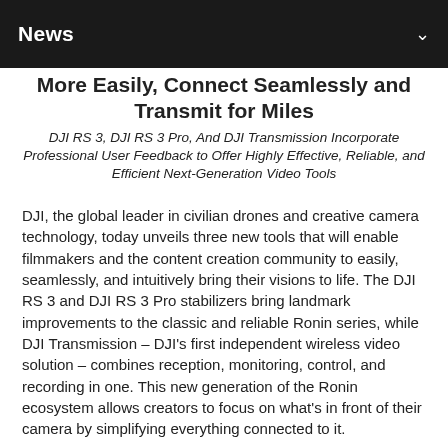News
More Easily, Connect Seamlessly and Transmit for Miles
DJI RS 3, DJI RS 3 Pro, And DJI Transmission Incorporate Professional User Feedback to Offer Highly Effective, Reliable, and Efficient Next-Generation Video Tools
DJI, the global leader in civilian drones and creative camera technology, today unveils three new tools that will enable filmmakers and the content creation community to easily, seamlessly, and intuitively bring their visions to life. The DJI RS 3 and DJI RS 3 Pro stabilizers bring landmark improvements to the classic and reliable Ronin series, while DJI Transmission – DJI's first independent wireless video solution – combines reception, monitoring, control, and recording in one. This new generation of the Ronin ecosystem allows creators to focus on what's in front of their camera by simplifying everything connected to it.